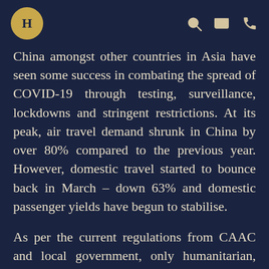H [logo] | search | mail | phone
China amongst other countries in Asia have seen some success in combating the spread of COVID-19 through testing, surveillance, lockdowns and stringent restrictions. At its peak, air travel demand shrunk in China by over 80% compared to the previous year. However, domestic travel started to bounce back in March – down 63% and domestic passenger yields have begun to stabilise.
As per the current regulations from CAAC and local government, only humanitarian, cargo, evacuation and special flights approved via diplomatic channels are permitted to land in Shanghai, Beijing, Shenzhen and Guangzhou.